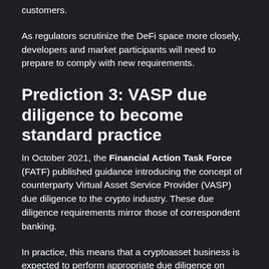customers.
As regulators scrutinize the DeFi space more closely, developers and market participants will need to prepare to comply with new requirements.
Prediction 3: VASP due diligence to become standard practice
In October 2021, the Financial Action Task Force (FATF) published guidance introducing the concept of counterparty Virtual Asset Service Provider (VASP) due diligence to the crypto industry. These due diligence requirements mirror those of correspondent banking.
In practice, this means that a cryptoasset business is expected to perform appropriate due diligence on every other VASP it is exposed to through customer transactions, such as its fiat currency on and off-ramps